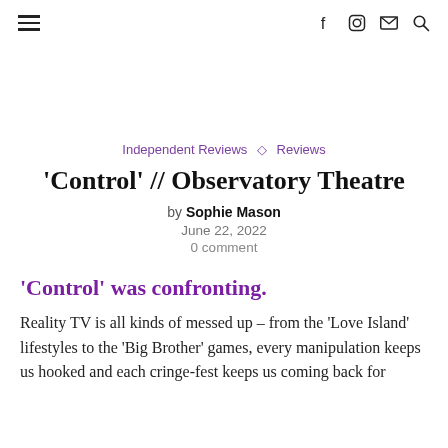≡  f  Instagram  mail  search
Independent Reviews ◇ Reviews
'Control' // Observatory Theatre
by Sophie Mason
June 22, 2022
0 comment
'Control' was confronting.
Reality TV is all kinds of messed up – from the 'Love Island' lifestyles to the 'Big Brother' games, every manipulation keeps us hooked and each cringe-fest keeps us coming back for